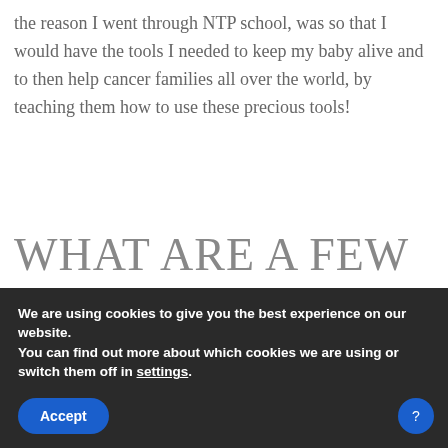the reason I went through NTP school, was so that I would have the tools I needed to keep my baby alive and to then help cancer families all over the world, by teaching them how to use these precious tools!
WHAT ARE A FEW OF YOUR GO-TO SNACKS?
Organic raw cheese with a piece of butter on top
We are using cookies to give you the best experience on our website.
You can find out more about which cookies we are using or switch them off in settings.